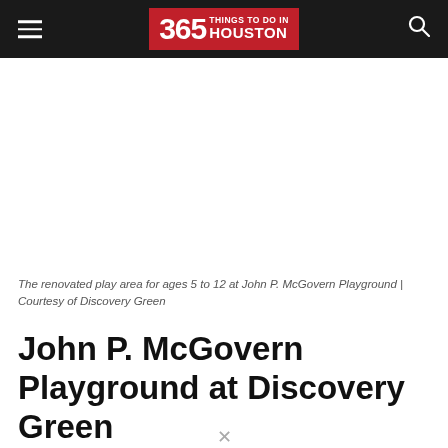365 THINGS TO DO IN HOUSTON
The renovated play area for ages 5 to 12 at John P. McGovern Playground | Courtesy of Discovery Green
John P. McGovern Playground at Discovery Green